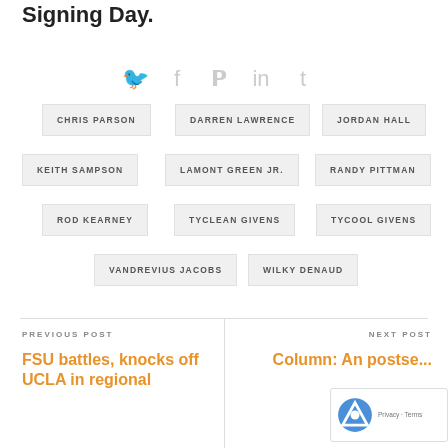Signing Day.
[Figure (infographic): Social sharing icons: Twitter, Facebook, Pinterest, LinkedIn, Tumblr]
CHRIS PARSON
DARREN LAWRENCE
JORDAN HALL
KEITH SAMPSON
LAMONT GREEN JR.
RANDY PITTMAN
ROD KEARNEY
TYCLEAN GIVENS
TYCOOL GIVENS
VANDREVIUS JACOBS
WILKY DENAUD
PREVIOUS POST
FSU battles, knocks off UCLA in regional
NEXT POST
Column: An postse... It b... for FSU